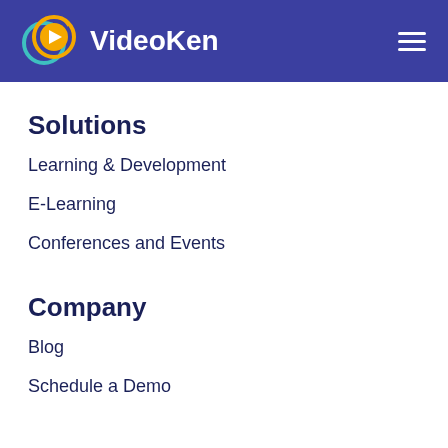VideoKen
Solutions
Learning & Development
E-Learning
Conferences and Events
Company
Blog
Schedule a Demo